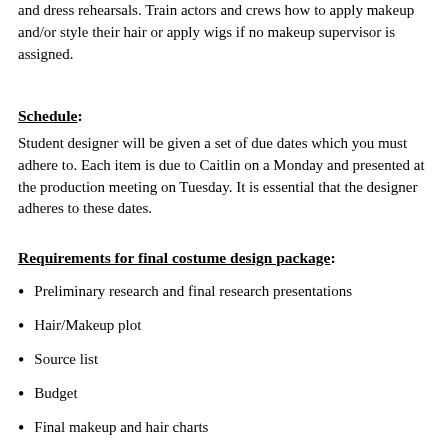and dress rehearsals. Train actors and crews how to apply makeup and/or style their hair or apply wigs if no makeup supervisor is assigned.
Schedule:
Student designer will be given a set of due dates which you must adhere to. Each item is due to Caitlin on a Monday and presented at the production meeting on Tuesday. It is essential that the designer adheres to these dates.
Requirements for final costume design package:
Preliminary research and final research presentations
Hair/Makeup plot
Source list
Budget
Final makeup and hair charts